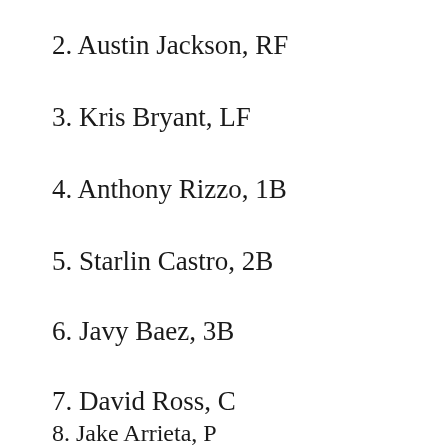2. Austin Jackson, RF
3. Kris Bryant, LF
4. Anthony Rizzo, 1B
5. Starlin Castro, 2B
6. Javy Baez, 3B
7. David Ross, C
8. Jake Arrieta, P
9. Addison Russell, SS